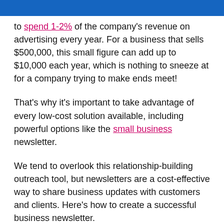to spend 1-2% of the company's revenue on advertising every year. For a business that sells $500,000, this small figure can add up to $10,000 each year, which is nothing to sneeze at for a company trying to make ends meet!
That's why it's important to take advantage of every low-cost solution available, including powerful options like the small business newsletter.
We tend to overlook this relationship-building outreach tool, but newsletters are a cost-effective way to share business updates with customers and clients. Here's how to create a successful business newsletter.